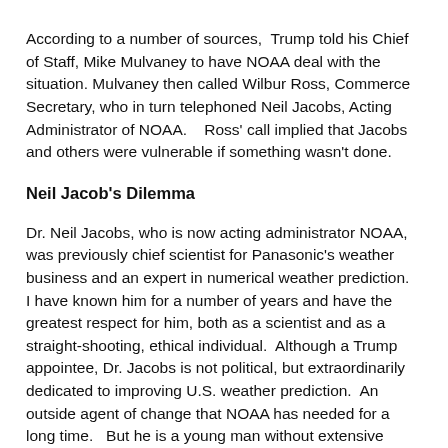According to a number of sources,  Trump told his Chief of Staff, Mike Mulvaney to have NOAA deal with the situation.  Mulvaney then called Wilbur Ross, Commerce Secretary, who in turn telephoned Neil Jacobs, Acting Administrator of NOAA.    Ross' call implied that Jacobs and others were vulnerable if something wasn't done.
Neil Jacob's Dilemma
Dr. Neil Jacobs, who is now acting administrator NOAA, was previously chief scientist for Panasonic's weather business and an expert in numerical weather prediction.   I have known him for a number of years and have the greatest respect for him, both as a scientist and as a straight-shooting, ethical individual.  Although a Trump appointee, Dr. Jacobs is not political, but extraordinarily dedicated to improving U.S. weather prediction.  An outside agent of change that NOAA has needed for a long time.   But he is a young man without extensive experience in DC and dealing with its shark-filled political waters. And he was just about to be bitten by a shark.  In fact, several sharks.